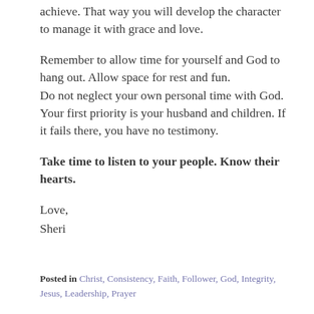achieve. That way you will develop the character to manage it with grace and love.
Remember to allow time for yourself and God to hang out. Allow space for rest and fun.
Do not neglect your own personal time with God.
Your first priority is your husband and children. If it fails there, you have no testimony.
Take time to listen to your people. Know their hearts.
Love,
Sheri
Posted in Christ, Consistency, Faith, Follower, God, Integrity, Jesus, Leadership, Prayer